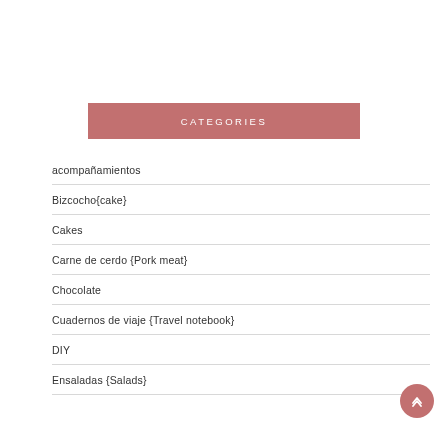CATEGORIES
acompañamientos
Bizcocho{cake}
Cakes
Carne de cerdo {Pork meat}
Chocolate
Cuadernos de viaje {Travel notebook}
DIY
Ensaladas {Salads}